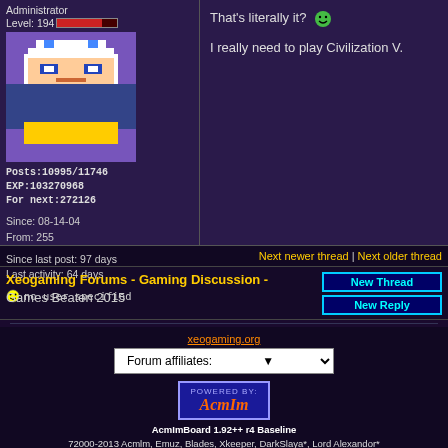Administrator
Level: 194
Posts:10995/11746
EXP:103270968
For next:272126
Since: 08-14-04
From: 255
Since last post: 97 days
Last activity: 64 days
no user specified
That's literally it? 🙂

I really need to play Civilization V.
Next newer thread | Next older thread
Xeogaming Forums - Gaming Discussion - Games Beaten 2015
New Thread
New Reply
xeogaming.org
Forum affiliates:
[Figure (logo): AcmlmBoard powered by logo — blue box with 'POWERED BY' text and 'AcmIm' in orange italic]
AcmImBoard 1.92++ r4 Baseline
72000-2013 Acmlm, Emuz, Blades, Xkeeper, DarkSlaya*, Lord Alexandor*
*Unofficial Updates
Page rendered in 0.231 seconds.
0.039